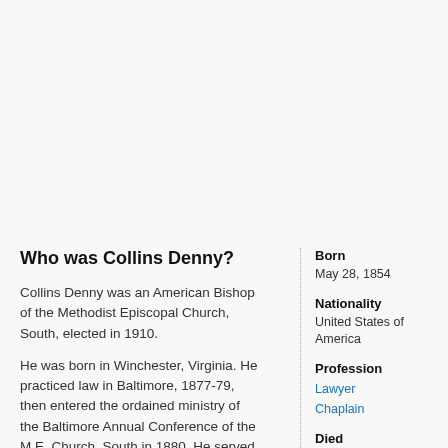Who was Collins Denny?
Collins Denny was an American Bishop of the Methodist Episcopal Church, South, elected in 1910.
He was born in Winchester, Virginia. He practiced law in Baltimore, 1877-79, then entered the ordained ministry of the Baltimore Annual Conference of the M.E. Church, South in 1880. He served as a Pastor and an Educator. He never accepted
Born
May 28, 1854
Nationality
United States of America
Profession
Lawyer
Chaplain
Died
May 12, 1943
Richmond